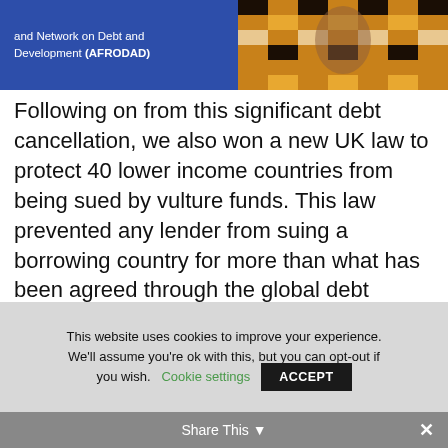[Figure (photo): Header image with blue background showing text about African Forum and Network on Debt and Development (AFRODAD) on the left, and a person wearing African print fabric on the right]
and Network on Debt and Development (AFRODAD)
Following on from this significant debt cancellation, we also won a new UK law to protect 40 lower income countries from being sued by vulture funds. This law prevented any lender from suing a borrowing country for more than what has been agreed through the global debt cancellation programme of the early 2000s.
This website uses cookies to improve your experience. We'll assume you're ok with this, but you can opt-out if you wish.
Cookie settings
ACCEPT
Share This